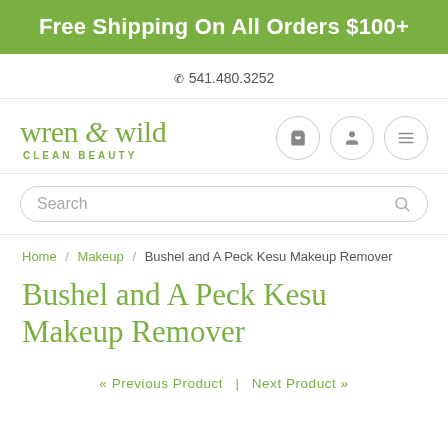Free Shipping On All Orders $100+
541.480.3252
[Figure (logo): Wren & Wild Clean Beauty logo in green script with icons for cart, account, and menu]
Search
Home / Makeup / Bushel and A Peck Kesu Makeup Remover
Bushel and A Peck Kesu Makeup Remover
« Previous Product | Next Product »